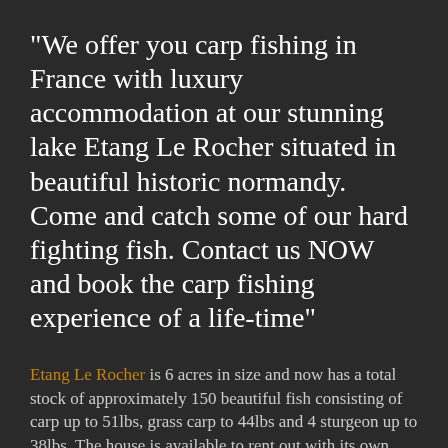“We offer you carp fishing in France with luxury accommodation at our stunning lake Etang Le Rocher situated in beautiful historic normandy.  Come and catch some of our hard fighting fish. Contact us NOW and book the carp fishing experience of a life-time”
Etang Le Rocher is 6 acres in size and now has a total stock of approximately 150 beautiful fish consisting of carp up to 51lbs, grass carp to 44lbs and 4 sturgeon up to 38lbs. The house is available to rent out with its own